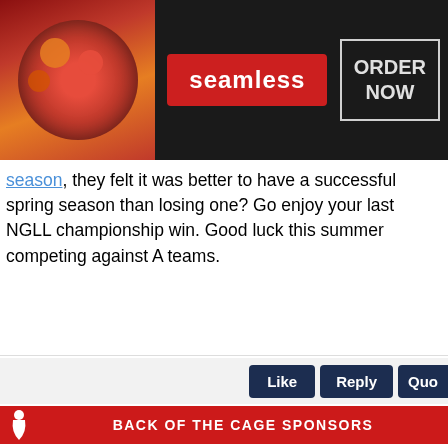[Figure (screenshot): Seamless food delivery advertisement banner with pizza image on left, seamless logo in red badge center, and ORDER NOW button on right, dark background]
season, they felt it was better to have a successful spring season than losing one? Go enjoy your last NGLL championship win. Good luck this summer competing against A teams.
[Figure (screenshot): Action buttons: Like, Reply, Quo (partial) on dark navy background]
[Figure (screenshot): BACK OF THE CAGE SPONSORS red banner with lacrosse player icon]
[Figure (screenshot): Anonymous user post header with #380929]
[Figure (screenshot): Anonymous heading text partially visible]
[Figure (screenshot): BELK advertisement - Denim all day. www.belk.com with shopping images and navigation arrow]